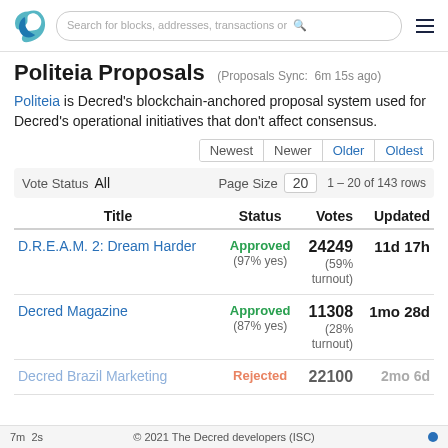Search for blocks, addresses, transactions or
Politeia Proposals (Proposals Sync: 6m 15s ago)
Politeia is Decred's blockchain-anchored proposal system used for Decred's operational initiatives that don't affect consensus.
| Title | Status | Votes | Updated |
| --- | --- | --- | --- |
| D.R.E.A.M. 2: Dream Harder | Approved (97% yes) | 24249 (59% turnout) | 11d 17h |
| Decred Magazine | Approved (87% yes) | 11308 (28% turnout) | 1mo 28d |
| Decred Brazil Marketing | Rejected | 22100 | 2mo 6d |
7m  2s    © 2021 The Decred developers (ISC)